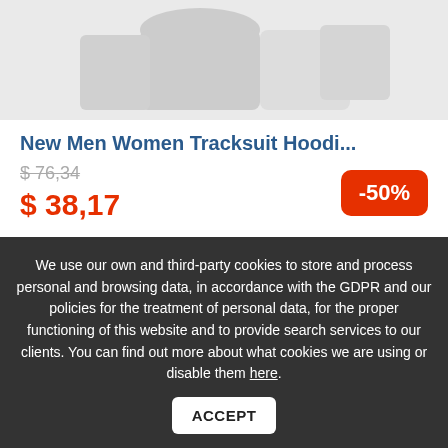[Figure (photo): Partial view of men/women tracksuit hoodie product image at the top of the page]
New Men Women Tracksuit Hoodi...
$ 76,34 (strikethrough original price)
-50%
$ 38,17 (sale price)
[Figure (photo): Partial circular/globe-shaped product image of a second item]
We use our own and third-party cookies to store and process personal and browsing data, in accordance with the GDPR and our policies for the treatment of personal data, for the proper functioning of this website and to provide search services to our clients. You can find out more about what cookies we are using or disable them here. ACCEPT